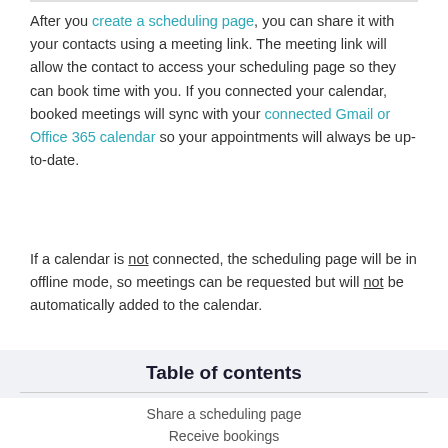After you create a scheduling page, you can share it with your contacts using a meeting link. The meeting link will allow the contact to access your scheduling page so they can book time with you. If you connected your calendar, booked meetings will sync with your connected Gmail or Office 365 calendar so your appointments will always be up-to-date.
If a calendar is not connected, the scheduling page will be in offline mode, so meetings can be requested but will not be automatically added to the calendar.
Table of contents
Share a scheduling page
Receive bookings